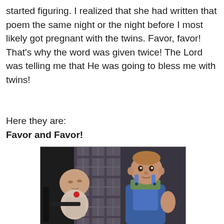started figuring. I realized that she had written that poem the same night or the night before I most likely got pregnant with the twins. Favor, favor! That's why the word was given twice! The Lord was telling me that He was going to bless me with twins!
Here they are:
Favor and Favor!
[Figure (photo): Two infants/toddlers in strollers or car seats. The child on the left appears to be sleeping, wearing a patterned outfit. The child on the right is awake and looking at the camera, wearing green shirt and denim overalls.]